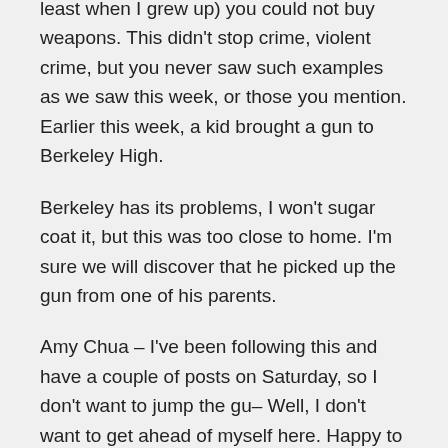least when I grew up) you could not buy weapons. This didn't stop crime, violent crime, but you never saw such examples as we saw this week, or those you mention. Earlier this week, a kid brought a gun to Berkeley High.
Berkeley has its problems, I won't sugar coat it, but this was too close to home. I'm sure we will discover that he picked up the gun from one of his parents.
Amy Chua – I've been following this and have a couple of posts on Saturday, so I don't want to jump the gu– Well, I don't want to get ahead of myself here. Happy to hear your response on Saturday.
Thanks for your question...